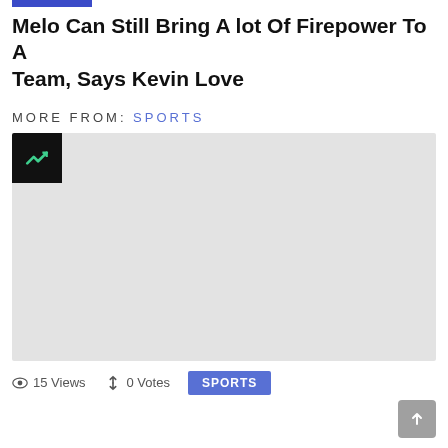Melo Can Still Bring A lot Of Firepower To A Team, Says Kevin Love
MORE FROM: SPORTS
[Figure (other): Article card with a green trending icon on black background, light gray placeholder content area]
15 Views  0 Votes  SPORTS